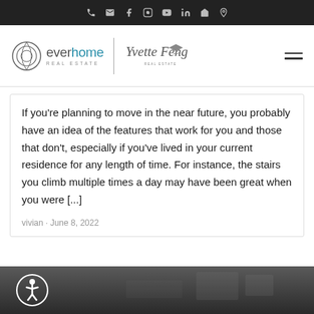everhome REAL ESTATE | Yvette Feng Real Estate
If you're planning to move in the near future, you probably have an idea of the features that work for you and those that don't, especially if you've lived in your current residence for any length of time. For instance, the stairs you climb multiple times a day may have been great when you were [...]
vivian · June 8, 2022
[Figure (photo): Dark interior architectural photo strip at the bottom of the page with an accessibility icon button overlay]